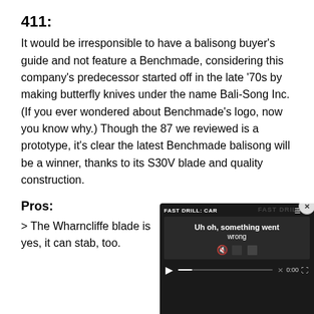411:
It would be irresponsible to have a balisong buyer's guide and not feature a Benchmade, considering this company's predecessor started off in the late ‘70s by making butterfly knives under the name Bali-Song Inc. (If you ever wondered about Benchmade’s logo, now you know why.) Though the 87 we reviewed is a prototype, it’s clear the latest Benchmade balisong will be a winner, thanks to its S30V blade and quality construction.
Pros:
> The Wharncliffe blade is
yes, it can stab, too.
[Figure (screenshot): Video player overlay showing 'FAST DRILL: CAR' title and 'Uh oh, something went wrong' error message with playback controls showing 0:00 timestamp and a close (x) button in top right corner.]